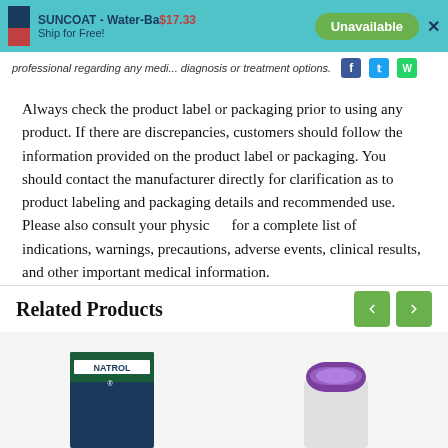SUNCOAT - Water-Ba... Ship for Free! $17.33 Unavailable
professional regarding any medical... diagnosis or treatment options.
Always check the product label or packaging prior to using any product. If there are discrepancies, customers should follow the information provided on the product label or packaging. You should contact the manufacturer directly for clarification as to product labeling and packaging details and recommended use. Please also consult your physician for a complete list of indications, warnings, precautions, adverse events, clinical results, and other important medical information.
Related Products
[Figure (photo): Natrol product box thumbnail]
[Figure (photo): Purple device/product thumbnail]